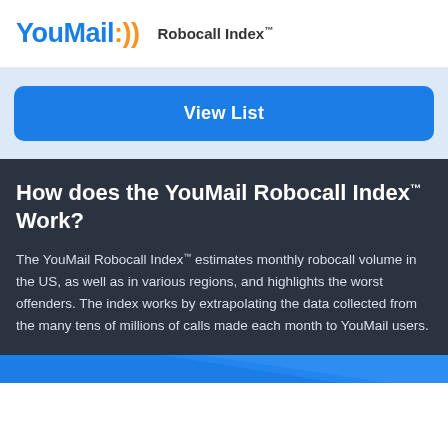YouMail:)) Robocall Index™
[Figure (other): Blue 'View List' button on light blue background]
How does the YouMail Robocall Index™ Work?
The YouMail Robocall Index™ estimates monthly robocall volume in the US, as well as in various regions, and highlights the worst offenders. The index works by extrapolating the data collected from the many tens of millions of calls made each month to YouMail users.